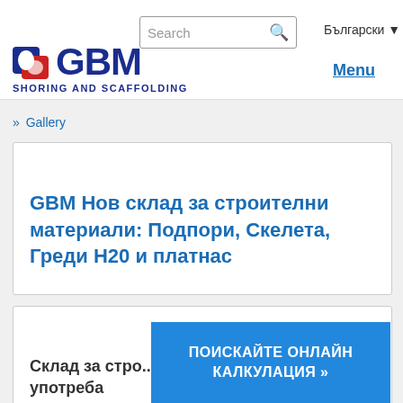Search | Български
[Figure (logo): GBM Shoring and Scaffolding logo with blue GBM text and icon]
Menu
» Gallery
GBM Нов склад за строителни материали: Подпори, Скелета, Греди H20 и платнас
Склад за стро... употреба
ПОИСКАЙТЕ ОНЛАЙН КАЛКУЛАЦИЯ »